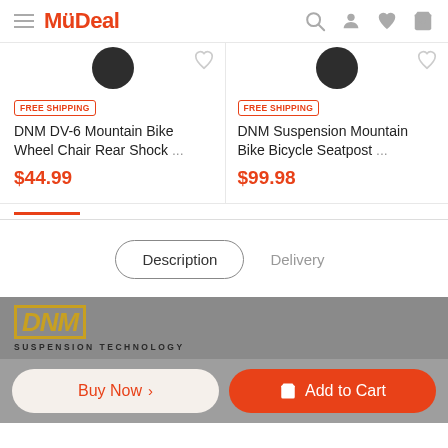MyDeal
[Figure (screenshot): Product card: DNM DV-6 Mountain Bike Wheel Chair Rear Shock ... FREE SHIPPING badge, price $44.99]
[Figure (screenshot): Product card: DNM Suspension Mountain Bike Bicycle Seatpost ... FREE SHIPPING badge, price $99.98]
Description
Delivery
[Figure (logo): DNM logo with italic gold text and brand tagline SUSPENSION TECHNOLOGY]
Buy Now >
Add to Cart